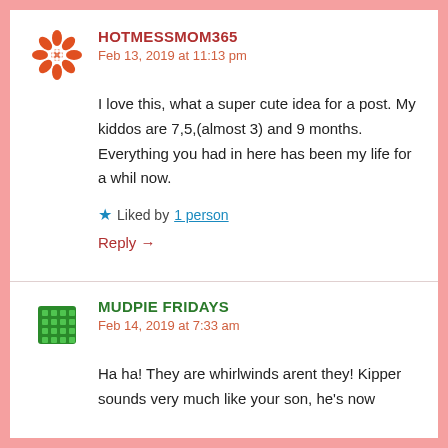[Figure (illustration): Orange/red decorative avatar icon for user HOTMESSMOM365]
HOTMESSMOM365
Feb 13, 2019 at 11:13 pm
I love this, what a super cute idea for a post. My kiddos are 7,5,(almost 3) and 9 months. Everything you had in here has been my life for a whil now.
★ Liked by 1 person
Reply →
[Figure (illustration): Green decorative avatar icon for user MUDPIE FRIDAYS]
MUDPIE FRIDAYS
Feb 14, 2019 at 7:33 am
Ha ha! They are whirlwinds arent they! Kipper sounds very much like your son, he's now